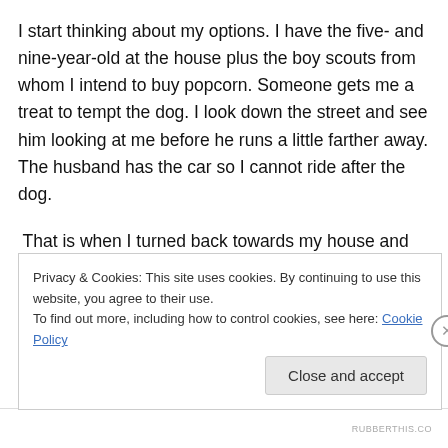I start thinking about my options. I have the five- and nine-year-old at the house plus the boy scouts from whom I intend to buy popcorn. Someone gets me a treat to tempt the dog. I look down the street and see him looking at me before he runs a little farther away. The husband has the car so I cannot ride after the dog.
That is when I turned back towards my house and pretended to run. My flat sandals make a slapping noise on the street and I make more noise than normal so the
Privacy & Cookies: This site uses cookies. By continuing to use this website, you agree to their use.
To find out more, including how to control cookies, see here: Cookie Policy
Close and accept